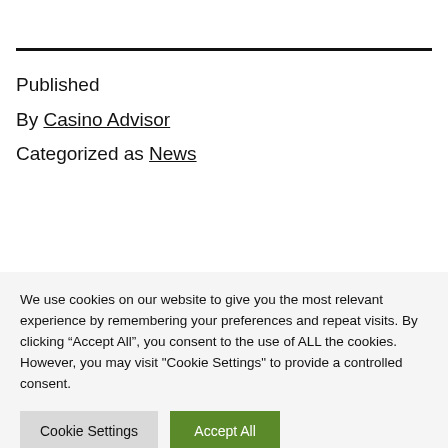Published
By Casino Advisor
Categorized as News
We use cookies on our website to give you the most relevant experience by remembering your preferences and repeat visits. By clicking “Accept All”, you consent to the use of ALL the cookies. However, you may visit "Cookie Settings" to provide a controlled consent.
Cookie Settings | Accept All